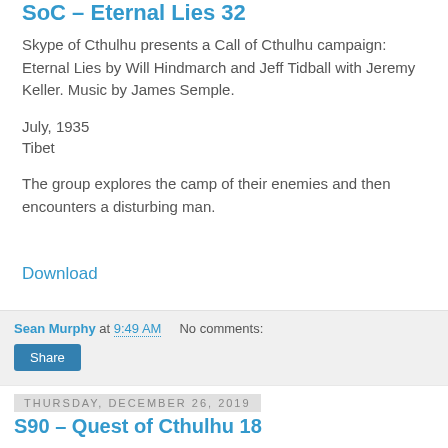SoC – Eternal Lies 32
Skype of Cthulhu presents a Call of Cthulhu campaign: Eternal Lies by Will Hindmarch and Jeff Tidball with Jeremy Keller. Music by James Semple.
July, 1935
Tibet
The group explores the camp of their enemies and then encounters a disturbing man.
Download
Sean Murphy at 9:49 AM   No comments:
Share
Thursday, December 26, 2019
S90 – Quest of Cthulhu 18